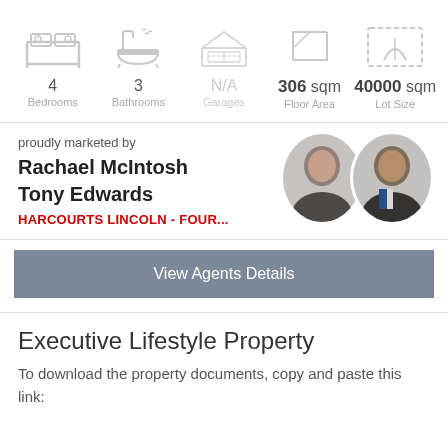[Figure (infographic): Property icons showing 4 Bedrooms, 3 Bathrooms, N/A Garages, 306 sqm Floor Area, 40000 sqm Lot Size]
proudly marketed by
Rachael McIntosh
Tony Edwards
HARCOURTS LINCOLN - FOUR...
[Figure (photo): Photos of two real estate agents, a woman and a man, both in professional attire]
View Agents Details
Executive Lifestyle Property
To download the property documents, copy and paste this link: